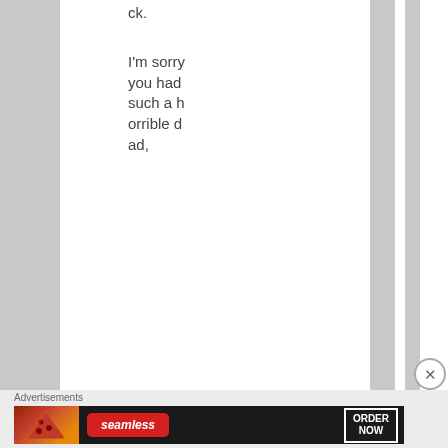ck.
I'm sorry you had such a horrible dad,
Advertisements
[Figure (screenshot): Seamless food delivery advertisement banner showing pizza and 'ORDER NOW' button]